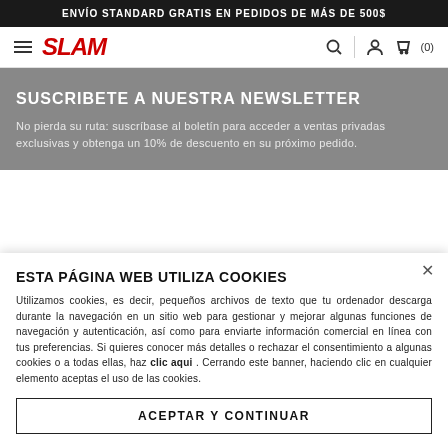ENVÍO STANDARD GRATIS EN PEDIDOS DE MÁS DE 500$
[Figure (logo): SLAM brand logo in red italic bold text, with hamburger menu icon on left and search, user, cart icons on right]
SUSCRIBETE A NUESTRA NEWSLETTER
No pierda su ruta: suscríbase al boletín para acceder a ventas privadas exclusivas y obtenga un 10% de descuento en su próximo pedido.
ESTA PÁGINA WEB UTILIZA COOKIES
Utilizamos cookies, es decir, pequeños archivos de texto que tu ordenador descarga durante la navegación en un sitio web para gestionar y mejorar algunas funciones de navegación y autenticación, así como para enviarte información comercial en línea con tus preferencias. Si quieres conocer más detalles o rechazar el consentimiento a algunas cookies o a todas ellas, haz clic aqui . Cerrando este banner, haciendo clic en cualquier elemento aceptas el uso de las cookies.
ACEPTAR Y CONTINUAR